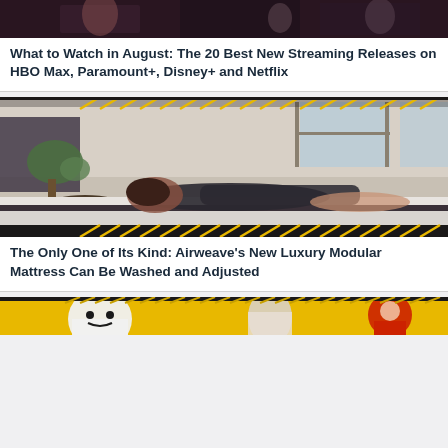[Figure (photo): Top portion of a TV show or movie promotional image, dark background with figures]
What to Watch in August: The 20 Best New Streaming Releases on HBO Max, Paramount+, Disney+ and Netflix
[Figure (photo): Woman lying face-down on a white and dark mattress in a bright bedroom with plants and windows, yellow diagonal stripe border]
The Only One of Its Kind: Airweave's New Luxury Modular Mattress Can Be Washed and Adjusted
[Figure (photo): Bottom partial image with yellow background showing partial figures]